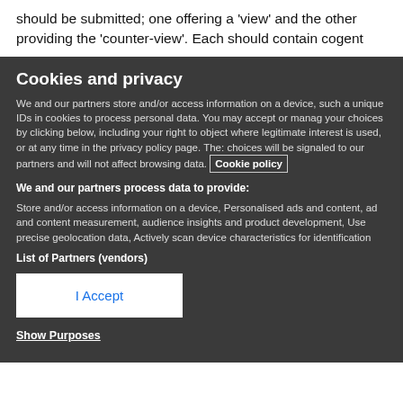should be submitted; one offering a ‘view’ and the other providing the ‘counter-view’. Each should contain cogent
Cookies and privacy
We and our partners store and/or access information on a device, such a unique IDs in cookies to process personal data. You may accept or manage your choices by clicking below, including your right to object where legitimate interest is used, or at any time in the privacy policy page. These choices will be signaled to our partners and will not affect browsing data. Cookie policy
We and our partners process data to provide: Store and/or access information on a device, Personalised ads and content, ad and content measurement, audience insights and product development, Use precise geolocation data, Actively scan device characteristics for identification
List of Partners (vendors)
I Accept
Show Purposes